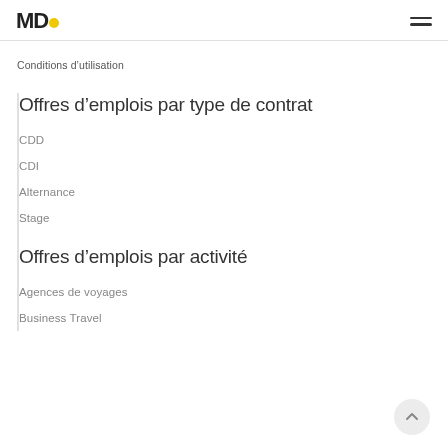MD. [menu icon]
Conditions d’utilisation
Offres d’emplois par type de contrat
CDD
CDI
Alternance
Stage
Offres d’emplois par activité
Agences de voyages
Business Travel